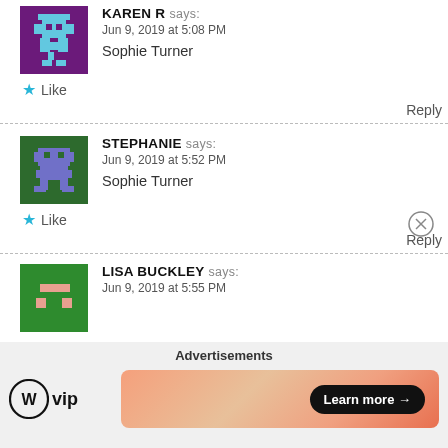KAREN R says: Jun 9, 2019 at 5:08 PM
Sophie Turner
★ Like
Reply
STEPHANIE says: Jun 9, 2019 at 5:52 PM
Sophie Turner
★ Like
Reply
LISA BUCKLEY says: Jun 9, 2019 at 5:55 PM
Advertisements
[Figure (logo): WordPress VIP logo with circle W icon and 'vip' text]
[Figure (infographic): Ad banner with peach/orange gradient and 'Learn more →' button]